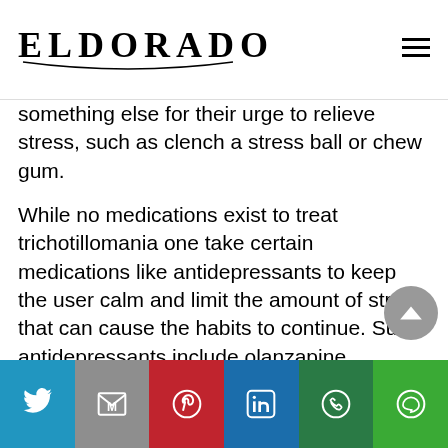ELDORADO
something else for their urge to relieve stress, such as clench a stress ball or chew gum.
While no medications exist to treat trichotillomania one take certain medications like antidepressants to keep the user calm and limit the amount of stress that can cause the habits to continue. Such antidepressants include olanzapine, clomipramine, and N-acetylcysteine.
If you are suffering from trichotillomania,call us today so you can receive proper hair restoration.
Share buttons: Twitter, Gmail, Pinterest, LinkedIn, WhatsApp, Line